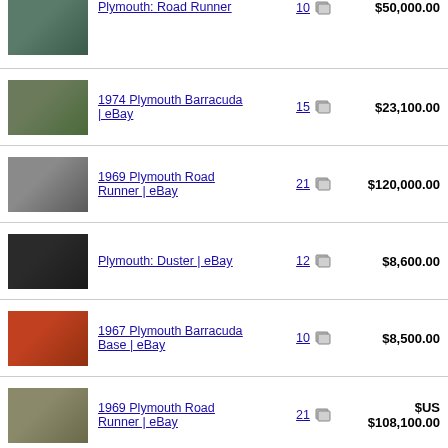Plymouth: Road Runner | eBay — 10 photos — $50,000.00
1974 Plymouth Barracuda | eBay — 15 photos — $23,100.00
1969 Plymouth Road Runner | eBay — 21 photos — $120,000.00
Plymouth: Duster | eBay — 12 photos — $8,600.00
1967 Plymouth Barracuda Base | eBay — 10 photos — $8,500.00
1969 Plymouth Road Runner | eBay — 21 photos — $US $108,100.00
Plymouth: Road Runner Convertible | eBay — 12 photos — $55,100.00